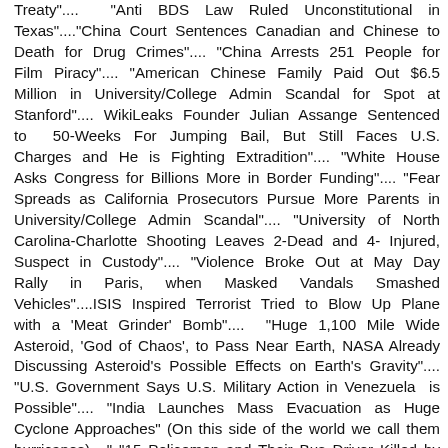Treaty".... "Anti BDS Law Ruled Unconstitutional in Texas"...."China Court Sentences Canadian and Chinese to Death for Drug Crimes".... "China Arrests 251 People for Film Piracy".... "American Chinese Family Paid Out $6.5 Million in University/College Admin Scandal for Spot at Stanford".... WikiLeaks Founder Julian Assange Sentenced to 50-Weeks For Jumping Bail, But Still Faces U.S. Charges and He is Fighting Extradition".... "White House Asks Congress for Billions More in Border Funding".... "Fear Spreads as California Prosecutors Pursue More Parents in University/College Admin Scandal".... "University of North Carolina-Charlotte Shooting Leaves 2-Dead and 4- Injured, Suspect in Custody".... "Violence Broke Out at May Day Rally in Paris, when Masked Vandals Smashed Vehicles"....ISIS Inspired Terrorist Tried to Blow Up Plane with a 'Meat Grinder' Bomb"....  "Huge 1,100 Mile Wide Asteroid, 'God of Chaos', to Pass Near Earth, NASA Already Discussing Asteroid's Possible Effects on Earth's Gravity".... "U.S. Government Says U.S. Military Action in Venezuela  is Possible".... "India Launches Mass Evacuation as Huge Cyclone Approaches" (On this side of the world we call them hurricanes)...." "15 Policemen and Their Bus Driver Killed by Terrorist IED Blast in India".... "Palestinian  President Abba Rejects $10 Billion Offered by Saudi Arabia to Accept U.S. Peace Deal".... "Palestinian Sentenced to 5 Years For Trying to Sell Land to